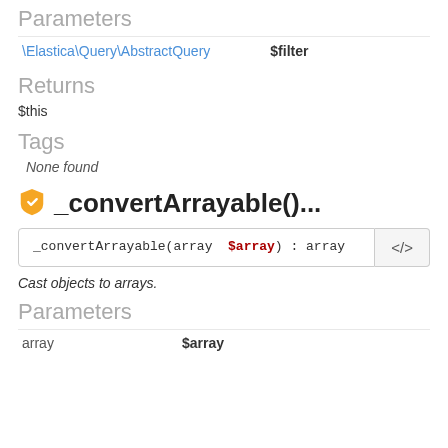Parameters
\Elastica\Query\AbstractQuery   $filter
Returns
$this
Tags
None found
_convertArrayable()...
_convertArrayable(array $array) : array
Cast objects to arrays.
Parameters
array   $array